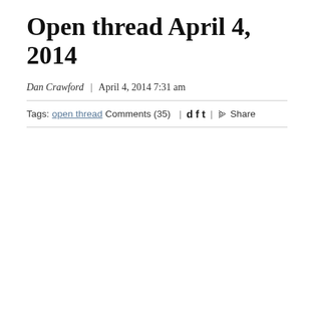Open thread April 4, 2014
Dan Crawford | April 4, 2014 7:31 am
Tags: open thread Comments (35) | d f t | Share